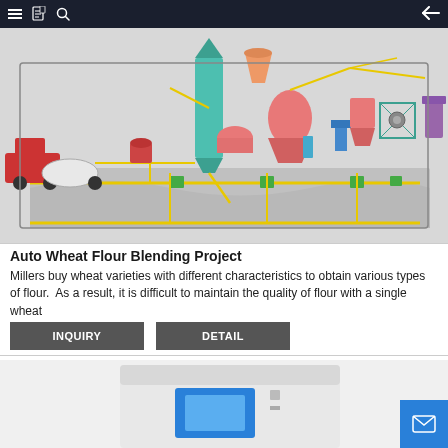Navigation bar with menu, document, search, and back icons
[Figure (engineering-diagram): Auto wheat flour blending plant schematic showing a truck delivery on the left, silos, conveyors, processing equipment including cyclones, mixers, and various machines connected by yellow piping on a grey floor plan.]
Auto Wheat Flour Blending Project
Millers buy wheat varieties with different characteristics to obtain various types of flour.  As a result, it is difficult to maintain the quality of flour with a single wheat
[Figure (photo): Partial view of white industrial flour milling machine or cabinet with blue window/panel, bottom portion cut off.]